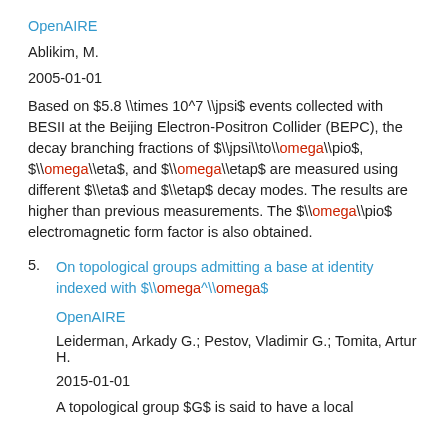OpenAIRE
Ablikim, M.
2005-01-01
Based on $5.8 \\times 10^7 \\jpsi$ events collected with BESII at the Beijing Electron-Positron Collider (BEPC), the decay branching fractions of $\\jpsi\\to\\omega\\pio$, $\\omega\\eta$, and $\\omega\\etap$ are measured using different $\\eta$ and $\\etap$ decay modes. The results are higher than previous measurements. The $\\omega\\pio$ electromagnetic form factor is also obtained.
5. On topological groups admitting a base at identity indexed with $\\omega^\\omega$
OpenAIRE
Leiderman, Arkady G.; Pestov, Vladimir G.; Tomita, Artur H.
2015-01-01
A topological group $G$ is said to have a local